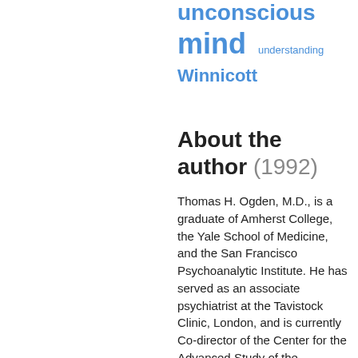unconscious mind  understanding  Winnicott
About the author (1992)
Thomas H. Ogden, M.D., is a graduate of Amherst College, the Yale School of Medicine, and the San Francisco Psychoanalytic Institute. He has served as an associate psychiatrist at the Tavistock Clinic, London, and is currently Co-director of the Center for the Advanced Study of the Psychoses, a member of the faculty of the San Francisco